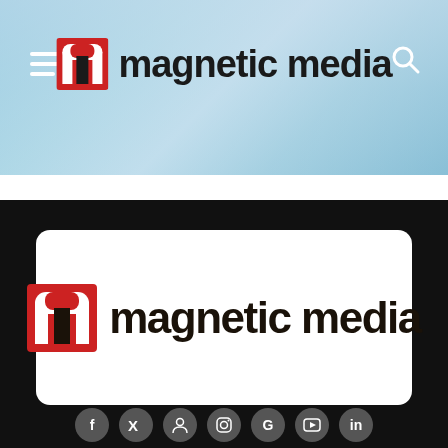[Figure (screenshot): Magnetic Media website header with light blue/cyan aerial ocean background, hamburger menu icon on left, search icon on right, and Magnetic Media logo centered]
[Figure (logo): Magnetic Media logo on white card with rounded corners against black background — red arch 'n' icon followed by bold black text 'magnetic media']
[Figure (infographic): Row of social media icon circles (Facebook, X/Twitter, user/profile, Instagram, Google+, YouTube, and one more) at bottom of black footer]